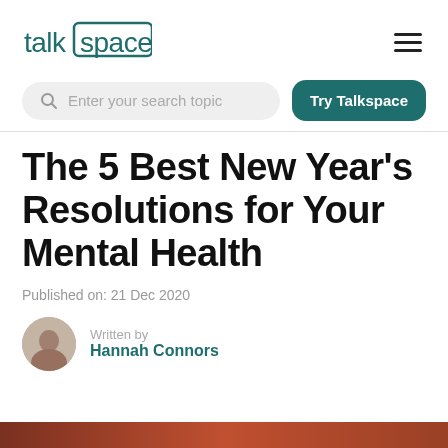[Figure (logo): Talkspace logo with teal text and box around 'space']
[Figure (other): Hamburger menu icon (three horizontal lines)]
[Figure (other): Search bar with placeholder 'Enter your search topic' and 'Try Talkspace' teal button]
The 5 Best New Year's Resolutions for Your Mental Health
Published on: 21 Dec 2020
Written by
Hannah Connors
[Figure (photo): Reddish-brown image strip at the bottom of the page]